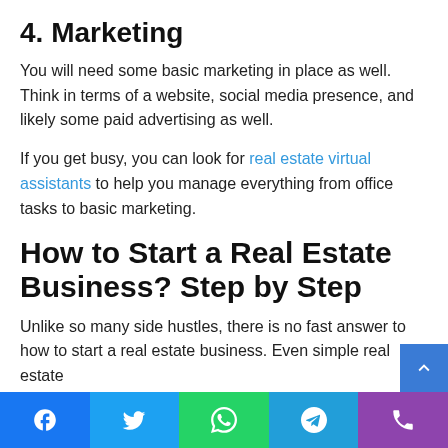4. Marketing
You will need some basic marketing in place as well. Think in terms of a website, social media presence, and likely some paid advertising as well.
If you get busy, you can look for real estate virtual assistants to help you manage everything from office tasks to basic marketing.
How to Start a Real Estate Business? Step by Step
Unlike so many side hustles, there is no fast answer to how to start a real estate business. Even simple real estate transactions can take time to close.